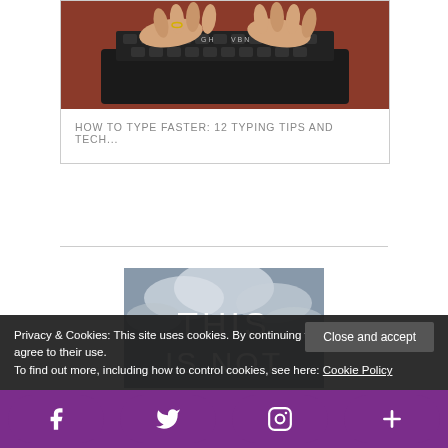[Figure (photo): Hands typing on a typewriter keyboard, close-up shot]
HOW TO TYPE FASTER: 12 TYPING TIPS AND TECH...
[Figure (photo): Book cover with sky/clouds background showing text 'THIS IS NOT']
Privacy & Cookies: This site uses cookies. By continuing to use this website, you agree to their use.
To find out more, including how to control cookies, see here: Cookie Policy
Close and accept